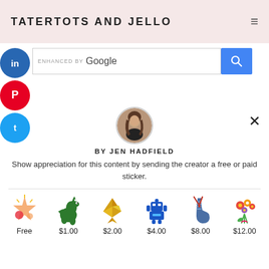TATERTOTS AND JELLO
[Figure (screenshot): Google enhanced search bar with social media icons (LinkedIn, Pinterest, Twitter) on left side]
[Figure (photo): Circular avatar photo of Jen Hadfield, a woman with long dark hair]
BY JEN HADFIELD
Show appreciation for this content by sending the creator a free or paid sticker.
[Figure (illustration): Row of sticker options: Free (pink star/flowers), $1.00 (green dinosaur), $2.00 (golden origami crane), $4.00 (blue robot), $8.00 (blue knitting sock with needles), $12.00 (flower bouquet)]